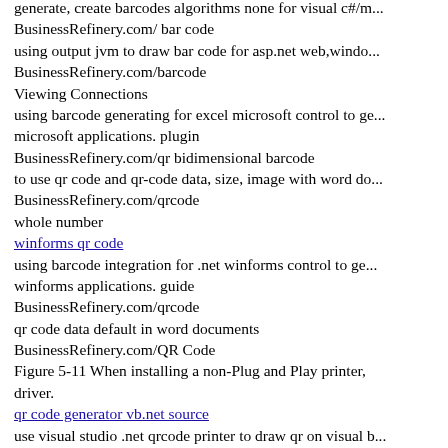generate, create barcodes algorithms none for visual c#/m...
BusinessRefinery.com/ bar code
using output jvm to draw bar code for asp.net web,windo...
BusinessRefinery.com/barcode
Viewing Connections
using barcode generating for excel microsoft control to ge... microsoft applications. plugin
BusinessRefinery.com/qr bidimensional barcode
to use qr code and qr-code data, size, image with word do...
BusinessRefinery.com/qrcode
whole number
winforms qr code
using barcode integration for .net winforms control to ge... winforms applications. guide
BusinessRefinery.com/qrcode
qr code data default in word documents
BusinessRefinery.com/QR Code
Figure 5-11 When installing a non-Plug and Play printer, driver.
qr code generator vb.net source
use visual studio .net qrcode printer to draw qr on visual b...
BusinessRefinery.com/qrcode
ssrs 2016 qr code
use sql server 2005 reporting services qr code jis x 0510 ... to
BusinessRefinery.com/QR Code